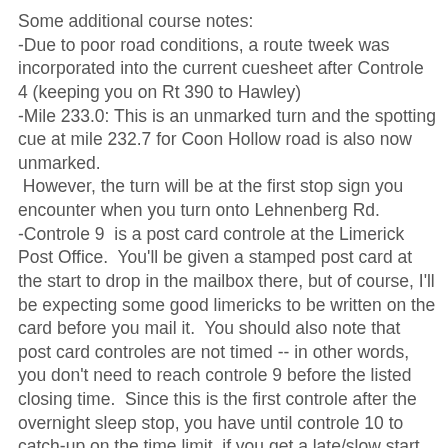Some additional course notes:
-Due to poor road conditions, a route tweek was incorporated into the current cuesheet after Controle 4 (keeping you on Rt 390 to Hawley)
-Mile 233.0: This is an unmarked turn and the spotting cue at mile 232.7 for Coon Hollow road is also now unmarked.  However, the turn will be at the first stop sign you encounter when you turn onto Lehnenberg Rd.
-Controle 9  is a post card controle at the Limerick Post Office.  You'll be given a stamped post card at the start to drop in the mailbox there, but of course, I'll be expecting some good limericks to be written on the card before you mail it.  You should also note that post card controles are not timed -- in other words, you don't need to reach controle 9 before the listed closing time.  Since this is the first controle after the overnight sleep stop, you have until controle 10 to catch-up on the time limit, if you get a late/slow start after sleeping in at the hostel.  There's also a good 24-hr diner near the post office (as noted on the cuesheet).  This would be a good place to stop for breakfast.
-Controle 10 (a Sheetz mini-mart in New Holland) will be